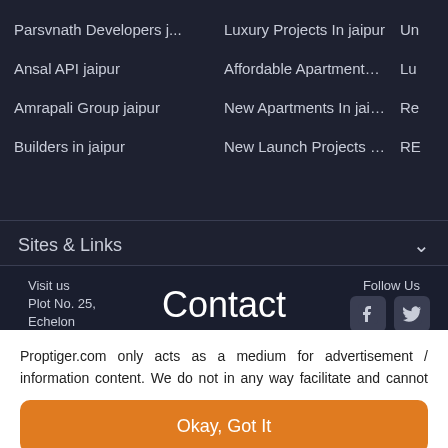Parsvnath Developers j...
Luxury Projects In jaipur
Un
Ansal API jaipur
Affordable Apartments I...
Lu
Amrapali Group jaipur
New Apartments In jaipur
Re
Builders in jaipur
New Launch Projects in ...
RE
Sites & Links
Visit us
Plot No. 25,
Echelon
Contact
Follow Us
Proptiger.com only acts as a medium for advertisement / information content. We do not in any way facilitate and cannot be deemed to be facilitating any transaction between seller / devel... Read More
Okay, Got It